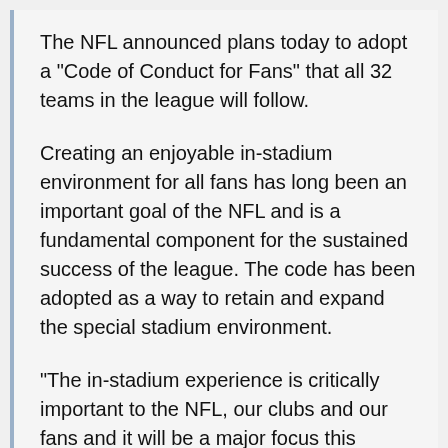The NFL announced plans today to adopt a "Code of Conduct for Fans" that all 32 teams in the league will follow.
Creating an enjoyable in-stadium environment for all fans has long been an important goal of the NFL and is a fundamental component for the sustained success of the league. The code has been adopted as a way to retain and expand the special stadium environment.
"The in-stadium experience is critically important to the NFL, our clubs and our fans and it will be a major focus this season," said NFL Commissioner Roger Goodell. "We are committed to improving the fan experience in every way we can -- from the time fans arrive in the parking lot to when they depart the